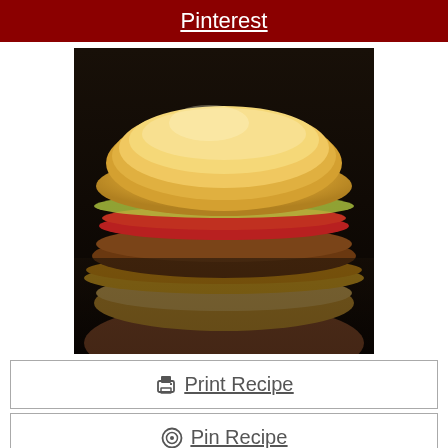Pinterest
[Figure (photo): A hand holding a cheeseburger with a large beef patty, melted orange cheese, red toppings, and a golden bun, photographed close up against a dark background.]
🖨 Print Recipe
⊕ Pin Recipe
🍴 Rate Recipe
Instant Pot Burgers
Instant Pot is a truly breakthrough method of cooking hamburgers! Easiest ever, perfect for lazy people! Instant Pot burgers are